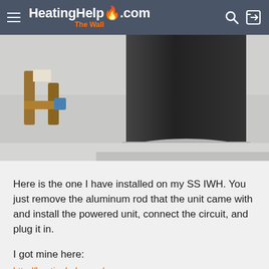HeatingHelp.com The Wall
[Figure (photo): Close-up photo of a water heater/boiler unit with copper piping and fittings visible on the left side, dark cylindrical boiler body in center-right, grey base/stand at bottom. Background shows a utility room setting.]
Here is the one I have installed on my SS IWH. You just remove the aluminum rod that the unit came with and install the powered unit, connect the circuit, and plug it in.
I got mine here:
http://... (link truncated)